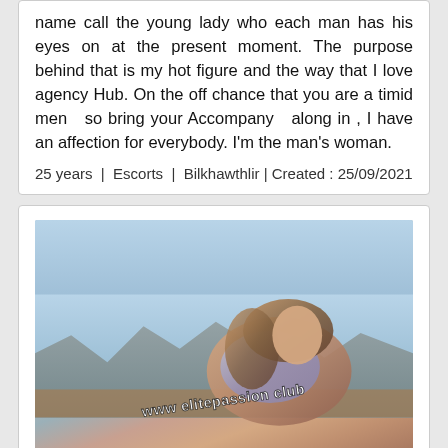name call the young lady who each man has his eyes on at the present moment. The purpose behind that is my hot figure and the way that I love agency Hub. On the off chance that you are a timid men  so bring your Accompany  along in , I have an affection for everybody. I'm the man's woman.
25 years | Escorts | Bilkhawthlir | Created: 25/09/2021
[Figure (photo): Photo of a woman with long brown hair wearing a plaid shirt, posed outdoors with mountains and blue sky in background. Watermark text reads 'www elitepassion club' across the bottom.]